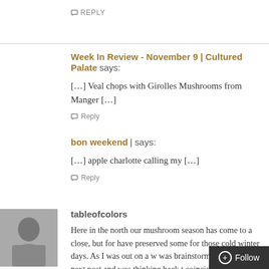REPLY
Week In Review - November 9 | Cultured Palate says:
[…] Veal chops with Girolles Mushrooms from Manger […]
Reply
bon weekend | says:
[…] apple charlotte calling my […]
Reply
tableofcolors
Here in the north our mushroom season has come to a close, but for have preserved some for those cold winter days. As I was out on a w was brainstorming about my next post and was thinking back t coincidence that when I went to your post that you ha is similar to a treasure hunt, isn't it?